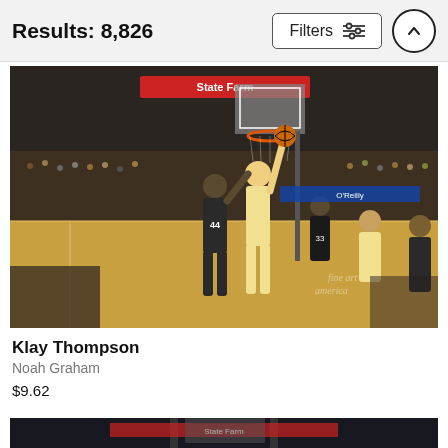Results: 8,826
[Figure (photo): NBA basketball game action photo showing Klay Thompson driving to the basket at an indoor arena. State Farm Arena backdrop with crowded stands. Players in golden Warriors uniforms and dark Pacers uniforms. Watermark reads 'fine art america'.]
Klay Thompson
Noah Graham
$9.62
[Figure (photo): Partially visible second basketball game photo at bottom of page.]